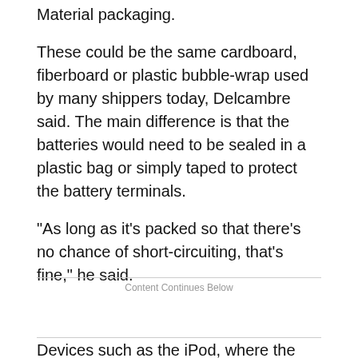Material packaging.
These could be the same cardboard, fiberboard or plastic bubble-wrap used by many shippers today, Delcambre said. The main difference is that the batteries would need to be sealed in a plastic bag or simply taped to protect the battery terminals.
“As long as it’s packed so that there’s no chance of short-circuiting, that’s fine,” he said.
Content Continues Below
Devices such as the iPod, where the battery